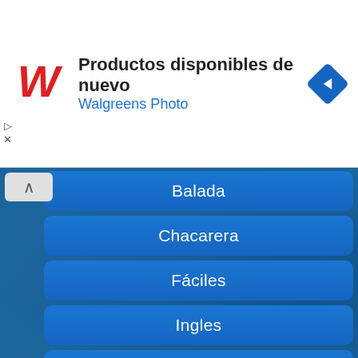[Figure (screenshot): Walgreens Photo advertisement banner with logo, text 'Productos disponibles de nuevo' and 'Walgreens Photo', and a blue diamond navigation arrow icon]
Balada
Chacarera
Fáciles
Ingles
Salsa
Regional Mexicana
Trap
Rap
Bachata